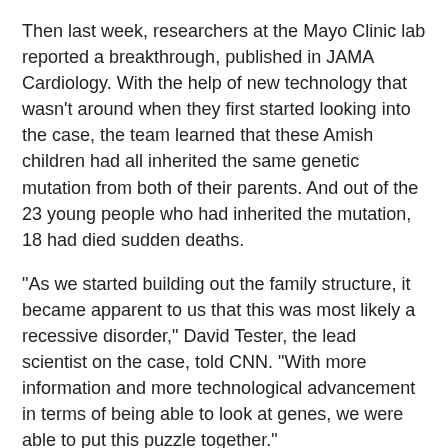Then last week, researchers at the Mayo Clinic lab reported a breakthrough, published in JAMA Cardiology. With the help of new technology that wasn't around when they first started looking into the case, the team learned that these Amish children had all inherited the same genetic mutation from both of their parents. And out of the 23 young people who had inherited the mutation, 18 had died sudden deaths.
"As we started building out the family structure, it became apparent to us that this was most likely a recessive disorder," David Tester, the lead scientist on the case, told CNN. "With more information and more technological advancement in terms of being able to look at genes, we were able to put this puzzle together."
The children likely had a common ancestor.
Turns out, it was RYR2 -- the gene the researchers had suspected all along. But there wasn't just one mistake in the gene. More than 300,000 base pairs in the gene had been duplicated.